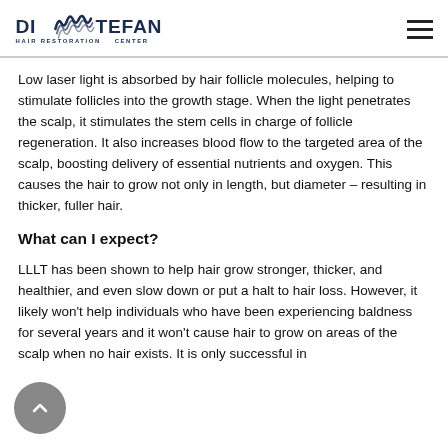[Figure (logo): DiStefano Hair Restoration Center logo with stylized hair wave graphic]
Low laser light is absorbed by hair follicle molecules, helping to stimulate follicles into the growth stage. When the light penetrates the scalp, it stimulates the stem cells in charge of follicle regeneration. It also increases blood flow to the targeted area of the scalp, boosting delivery of essential nutrients and oxygen. This causes the hair to grow not only in length, but diameter – resulting in thicker, fuller hair.
What can I expect?
LLLT has been shown to help hair grow stronger, thicker, and healthier, and even slow down or put a halt to hair loss. However, it likely won't help individuals who have been experiencing baldness for several years and it won't cause hair to grow on areas of the scalp when no hair exists. It is only successful in